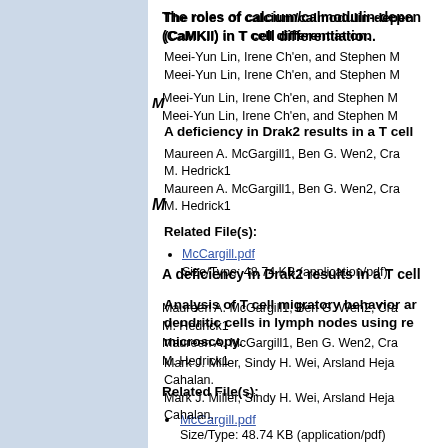The roles of calcium/calmodulin-dependent protein kinase II (CaMKII) in T cell differentiation.
Meei-Yun Lin, Irene Ch'en, and Stephen M
Meei-Yun Lin, Irene Ch'en, and Stephen M
M
A deficiency in Drak2 results in a T cell
Maureen A. McGargill1, Ben G. Wen2, Cra M. Hedrick1
Maureen A. McGargill1, Ben G. Wen2, Cra M. Hedrick1
Related File(s):
McCargill.pdf
Size/Type: 48.74 KB (application/pdf)
Analysis of T cell migratory behavior and interactions with dendritic cells in lymph nodes using real-time two-photon microscopy.
Mark J. Miller, Sindy H. Wei, Arsland Heja Cahalan.
Mark J. Miller, Sindy H. Wei, Arsland Heja Cahalan.